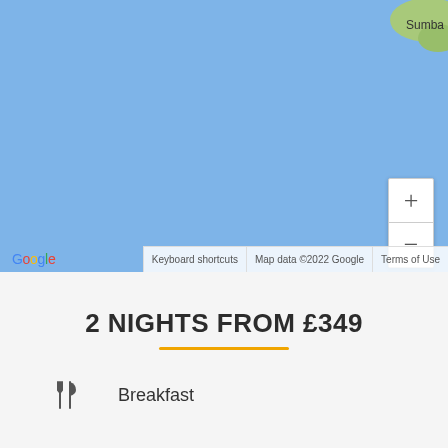[Figure (map): Google Maps screenshot showing ocean (light blue) with a small land mass labeled 'Sumba' in the upper right. Zoom in/out controls shown on the right side. Google logo and map attribution at the bottom.]
2 NIGHTS FROM £349
Breakfast